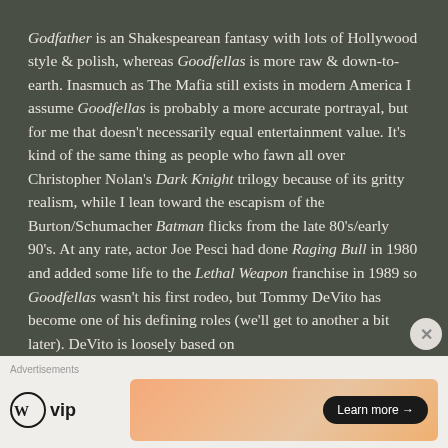Godfather is an Shakespearean fantasy with lots of Hollywood style & polish, whereas Goodfellas is more raw & down-to-earth. Inasmuch as The Mafia still exists in modern America I assume Goodfellas is probably a more accurate portrayal, but for me that doesn't necessarily equal entertainment value. It's kind of the same thing as people who fawn all over Christopher Nolan's Dark Knight trilogy because of its gritty realism, while I lean toward the escapism of the Burton/Schumacher Batman flicks from the late 80's/early 90's. At any rate, actor Joe Pesci had done Raging Bull in 1980 and added some life to the Lethal Weapon franchise in 1989 so Goodfellas wasn't his first rodeo, but Tommy DeVito has become one of his defining roles (we'll get to another a bit later). DeVito is loosely based on
[Figure (other): Advertisement section with WordPress VIP logo and a gradient banner ad with Learn more button]